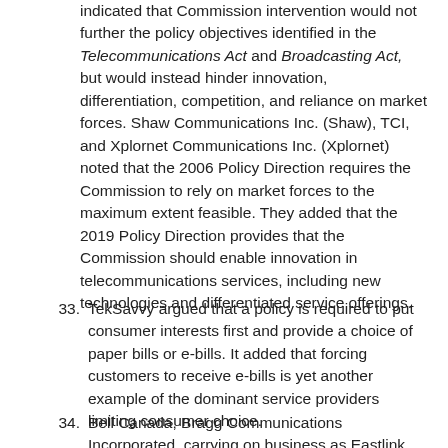indicated that Commission intervention would not further the policy objectives identified in the Telecommunications Act and Broadcasting Act, but would instead hinder innovation, differentiation, competition, and reliance on market forces. Shaw Communications Inc. (Shaw), TCI, and Xplornet Communications Inc. (Xplornet) noted that the 2006 Policy Direction requires the Commission to rely on market forces to the maximum extent feasible. They added that the 2019 Policy Direction provides that the Commission should enable innovation in telecommunications services, including new technologies and differentiated service offerings.
33. TekSavvy argued that a policy is required to put consumer interests first and provide a choice of paper bills or e-bills. It added that forcing customers to receive e-bills is yet another example of the dominant service providers limiting consumer choice.
34. Bell Canada, Bragg Communications Incorporated, carrying on business as Eastlink (Eastlink), and